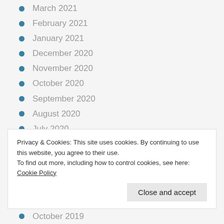March 2021
February 2021
January 2021
December 2020
November 2020
October 2020
September 2020
August 2020
July 2020
June 2020
May 2020
April 2020
March 2020
Privacy & Cookies: This site uses cookies. By continuing to use this website, you agree to their use.
To find out more, including how to control cookies, see here: Cookie Policy
Close and accept
October 2019